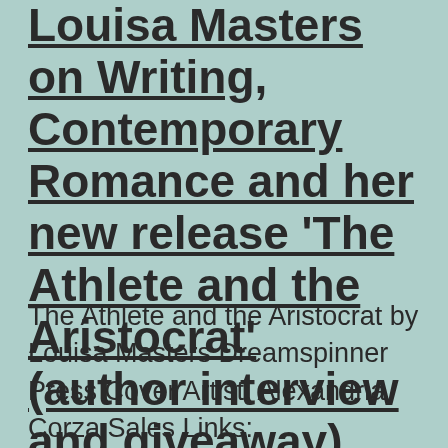Louisa Masters on Writing, Contemporary Romance and her new release 'The Athlete and the Aristocrat' (author interview and giveaway)
The Athlete and the Aristocrat by Louisa Masters Dreamspinner Press Cover Artist: Alexandria Corza Sales Links: Dreamspinner Press: http://bit.ly/2NuvcEm Amazon: https://amzn.to/2STNG43 Nook: